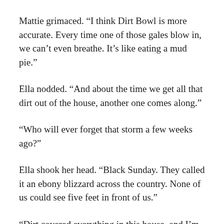Mattie grimaced. “I think Dirt Bowl is more accurate. Every time one of those gales blow in, we can’t even breathe. It’s like eating a mud pie.”
Ella nodded. “And about the time we get all that dirt out of the house, another one comes along.”
“Who will ever forget that storm a few weeks ago?”
Ella shook her head. “Black Sunday. They called it an ebony blizzard across the country. None of us could see five feet in front of us.”
“Dirt covered everything in this house, and I’m still